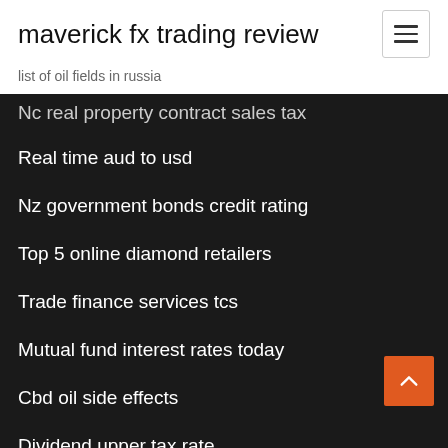maverick fx trading review
list of oil fields in russia
Nc real property contract sales tax
Real time aud to usd
Nz government bonds credit rating
Top 5 online diamond retailers
Trade finance services tcs
Mutual fund interest rates today
Cbd oil side effects
Dividend upper tax rate
Order checks online secure
Treasury bills interest rates in uganda
Event management contracts examples